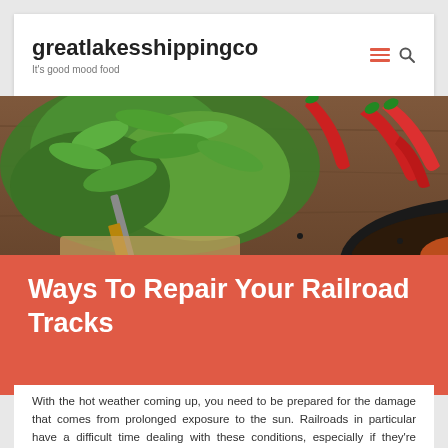greatlakesshippingco
It's good mood food
[Figure (photo): Food photography showing fresh green herbs (parsley/cilantro), red chili peppers, a dark cooking pan with stir-fry on a wooden surface]
Ways To Repair Your Railroad Tracks
With the hot weather coming up, you need to be prepared for the damage that comes from prolonged exposure to the sun. Railroads in particular have a difficult time dealing with these conditions, especially if they're already cracked and worn.